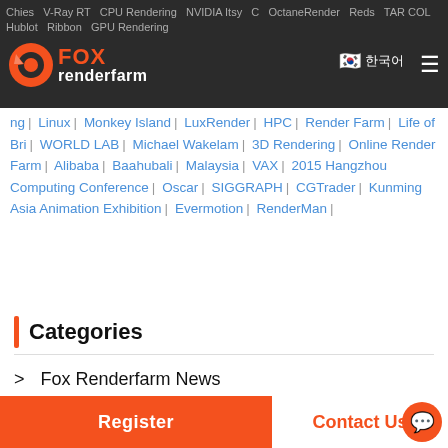Fox Renderfarm navigation bar with logo, Korean flag, and hamburger menu
Chies | V-Ray RT | CPU Rendering | NVIDIA Itsy | C | OctaneRender | Reds | TAR COL | Hublot | Ribbon | GPU Rendering | Linux | Monkey Island | LuxRender | HPC | Render Farm | Life of Bri | WORLD LAB | Michael Wakelam | 3D Rendering | Online Render Farm | Alibaba | Baahubali | Malaysia | VAX | 2015 Hangzhou Computing Conference | Oscar | SIGGRAPH | CGTrader | Kunming Asia Animation Exhibition | Evermotion | RenderMan
Categories
> Fox Renderfarm News
> Fox Renderfarm Projects
> Fox Renderfarm Lectures